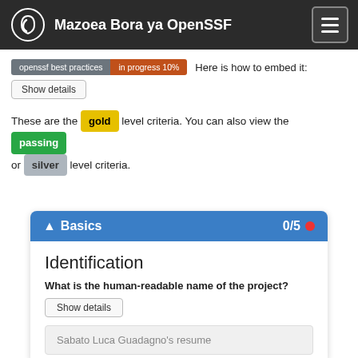Mazoea Bora ya OpenSSF
openssf best practices in progress 10% Here is how to embed it:
Show details
These are the gold level criteria. You can also view the passing or silver level criteria.
Basics 0/5
Identification
What is the human-readable name of the project?
Show details
Sabato Luca Guadagno's resume